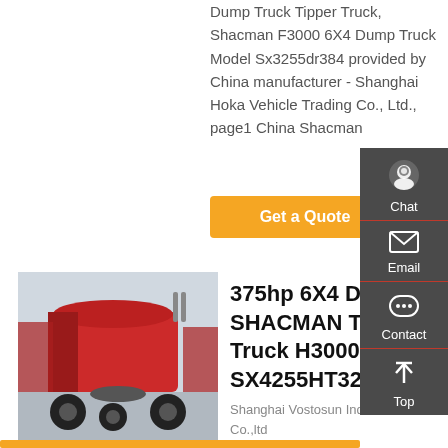Dump Truck Tipper Truck, Shacman F3000 6X4 Dump Truck Model Sx3255dr384 provided by China manufacturer - Shanghai Hoka Vehicle Trading Co., Ltd., page1 China Shacman
[Figure (other): Orange 'Get a Quote' button]
[Figure (photo): Red SHACMAN tractor truck viewed from rear-side angle, parked in a lot with other red trucks]
375hp 6X4 Drive SHACMAN Tractor Truck H3000-SX4255HT324, ...
Shanghai Vostosun Industrial Co.,ltd
[Figure (other): Side panel with Chat, Email, Contact, and Top navigation icons on dark grey background]